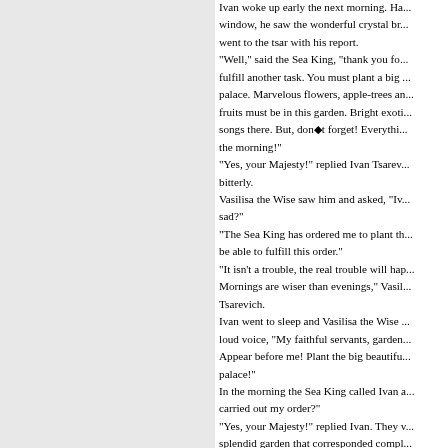Ivan woke up early the next morning. Ha... window, he saw the wonderful crystal br... went to the tsar with his report. "Well," said the Sea King, "thank you fo... fulfill another task. You must plant a big ... palace. Marvelous flowers, apple-trees an... fruits must be in this garden. Bright exoti... songs there. But, don●t forget! Everythi... the morning!" "Yes, your Majesty!" replied Ivan Tsarev... bitterly. Vasilisa the Wise saw him and asked, "Iv... sad?" "The Sea King has ordered me to plant th... be able to fulfill this order." "It isn't a trouble, the real trouble will hap... Mornings are wiser than evenings," Vasil... Tsarevich. Ivan went to sleep and Vasilisa the Wise ... loud voice, "My faithful servants, garden... Appear before me! Plant the big beautifu... palace!" In the morning the Sea King called Ivan a... carried out my order?" "Yes, your Majesty!" replied Ivan. They v... splendid garden that corresponded compl... King. "Thank you," said the Sea King. "I have...